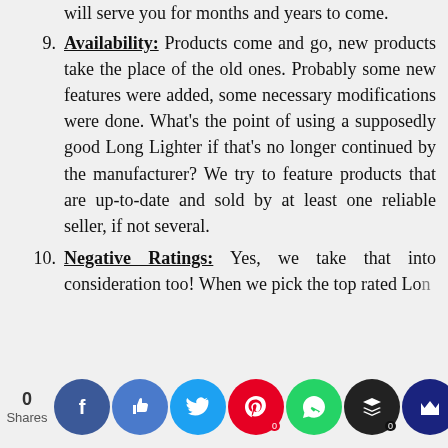will serve you for months and years to come.
9. Availability: Products come and go, new products take the place of the old ones. Probably some new features were added, some necessary modifications were done. What’s the point of using a supposedly good Long Lighter if that’s no longer continued by the manufacturer? We try to feature products that are up-to-date and sold by at least one reliable seller, if not several.
10. Negative Ratings: Yes, we take that into consideration too! When we pick the top rated Long products that get more